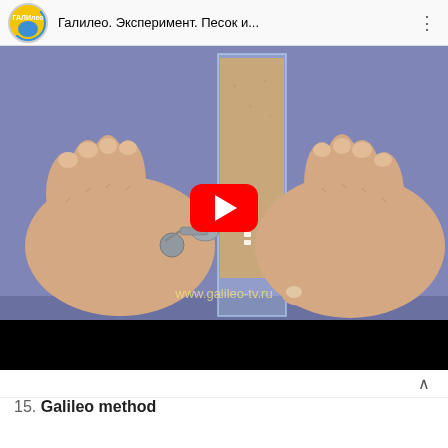[Figure (screenshot): YouTube video thumbnail showing a person holding a transparent glass container filled with sand, with a metal object being inserted. The video is from the Russian science show 'Galileo' (Галилео). A red YouTube play button is visible in the center. The video title bar shows the Galileo logo and title 'Галилео. Эксперимент. Песок и...' A watermark 'www.galileo-tv.ru' is visible at the bottom of the video frame. There is a black letterbox bar at the bottom.]
15. Galileo method